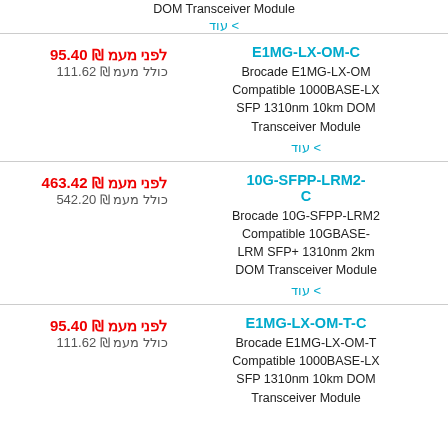DOM Transceiver Module
< עוד
לפני מעמ ₪ 95.40
כולל מעמ ₪ 111.62
E1MG-LX-OM-C
Brocade E1MG-LX-OM Compatible 1000BASE-LX SFP 1310nm 10km DOM Transceiver Module
< עוד
לפני מעמ ₪ 463.42
כולל מעמ ₪ 542.20
10G-SFPP-LRM2-C
Brocade 10G-SFPP-LRM2 Compatible 10GBASE-LRM SFP+ 1310nm 2km DOM Transceiver Module
< עוד
לפני מעמ ₪ 95.40
כולל מעמ ₪ 111.62
E1MG-LX-OM-T-C
Brocade E1MG-LX-OM-T Compatible 1000BASE-LX SFP 1310nm 10km DOM Transceiver Module